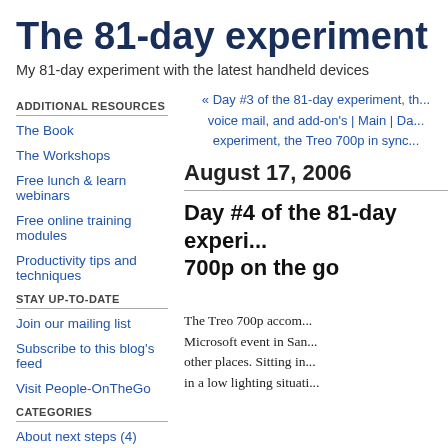The 81-day experiment
My 81-day experiment with the latest handheld devices
ADDITIONAL RESOURCES
The Book
The Workshops
Free lunch & learn webinars
Free online training modules
Productivity tips and techniques
STAY UP-TO-DATE
Join our mailing list
Subscribe to this blog's feed
Visit People-OnTheGo
CATEGORIES
About next steps (4)
« Day #3 of the 81-day experiment, th... voice mail, and add-on's | Main | Da... experiment, the Treo 700p in sync...
August 17, 2006
Day #4 of the 81-day experi... 700p on the go
The Treo 700p accompanied me to a Microsoft event in San... other places. Sitting in... in a low lighting situati... opportunity to try the c... conditions. You can see the picture on th... Windows Vista and the whole 2007 prod... were quite intriguing.
One of today's highlights as far as th...